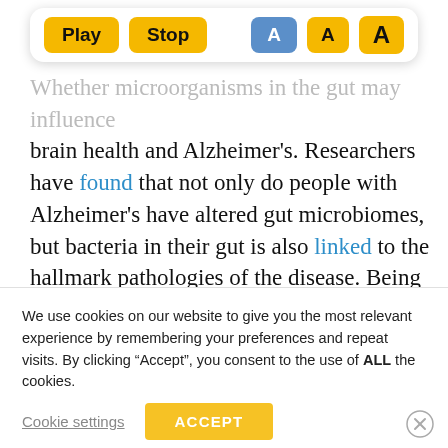[Figure (screenshot): Toolbar with Play, Stop (yellow buttons), and three font-size 'A' buttons (blue selected, two yellow) on white rounded card]
Whether microorganisms in the gut may influence brain health and Alzheimer's. Researchers have found that not only do people with Alzheimer's have altered gut microbiomes, but bacteria in their gut is also linked to the hallmark pathologies of the disease. Being Patient spoke with Barbara Bendlin, PhD, an associate professor of medicine at the University of Wisconsin-Madison, about her research on the gut [truncated]
We use cookies on our website to give you the most relevant experience by remembering your preferences and repeat visits. By clicking “Accept”, you consent to the use of ALL the cookies.